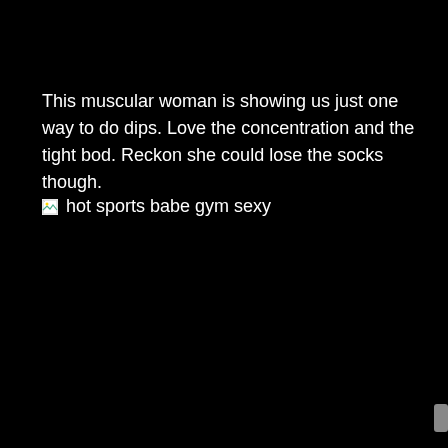This muscular woman is showing us just one way to do dips. Love the concentration and the tight bod. Reckon she could lose the socks though.
[Figure (photo): Broken image placeholder with alt text: hot sports babe gym sexy]